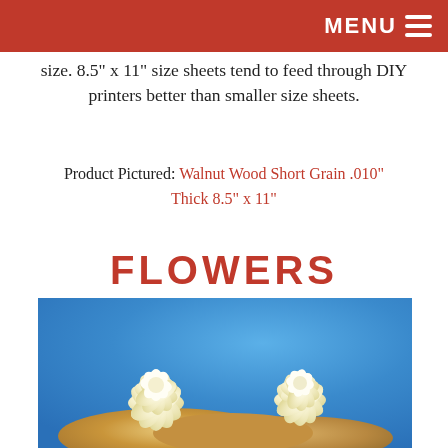MENU
size. 8.5" x 11" size sheets tend to feed through DIY printers better than smaller size sheets.
Product Pictured: Walnut Wood Short Grain .010" Thick 8.5" x 11"
FLOWERS
[Figure (photo): Two cream/ivory wood veneer flowers made from thin wood sheets, arranged on a wooden base against a blue background.]